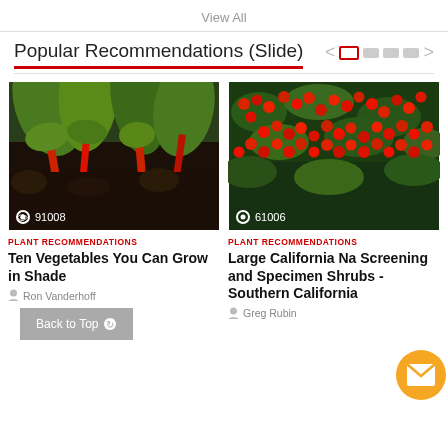View All
Popular Recommendations (Slide)
[Figure (photo): Photo of Swiss chard plants with red stems growing in a garden bed, view count 91008]
[Figure (photo): Photo of bright red berries on a shrub with green leaves, view count 61006]
PLANT RECOMMENDATIONS
Ten Vegetables You Can Grow in Shade
Ron Vanderhoff
PLANT RECOMMENDATIONS
Large California Na Screening and Specimen Shrubs - Southern California
Greg Rubin
Back to Top